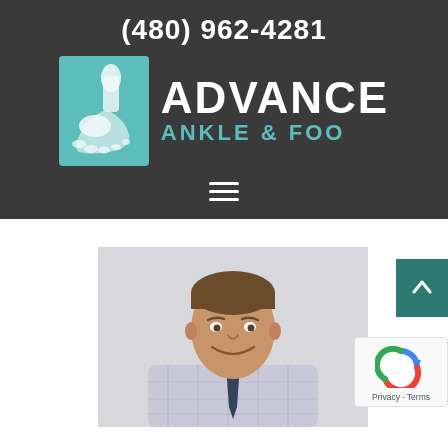(480) 962-4281
[Figure (logo): Advance Ankle & Foo logo with foot X-ray icon on teal background]
[Figure (illustration): Hamburger menu icon (three horizontal white lines)]
[Figure (photo): Professional headshot of a smiling male doctor in a light plaid shirt and dark tie against a light grey background]
[Figure (other): Scroll-to-top button (teal square with upward arrow)]
[Figure (other): reCAPTCHA badge with Privacy and Terms text]